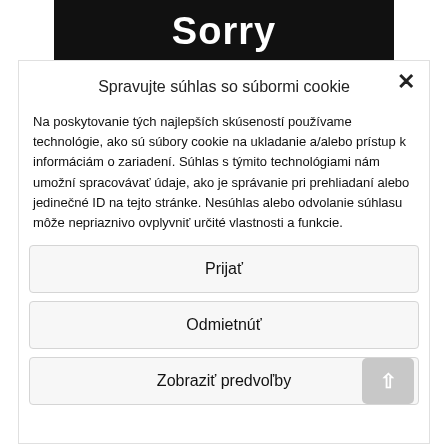Sorry
Spravujte súhlas so súbormi cookie
Na poskytovanie tých najlepších skúseností používame technológie, ako sú súbory cookie na ukladanie a/alebo prístup k informáciám o zariadení. Súhlas s týmito technológiami nám umožní spracovávať údaje, ako je správanie pri prehliadaní alebo jedinečné ID na tejto stránke. Nesúhlas alebo odvolanie súhlasu môže nepriaznivo ovplyvniť určité vlastnosti a funkcie.
Prijať
Odmietnúť
Zobraziť predvoľby